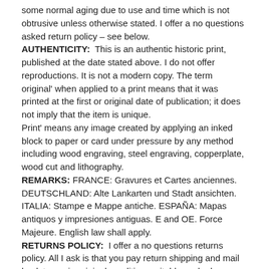some normal aging due to use and time which is not obtrusive unless otherwise stated. I offer a no questions asked return policy – see below. AUTHENTICITY:  This is an authentic historic print, published at the date stated above. I do not offer reproductions. It is not a modern copy. The term original' when applied to a print means that it was printed at the first or original date of publication; it does not imply that the item is unique. Print' means any image created by applying an inked block to paper or card under pressure by any method including wood engraving, steel engraving, copperplate, wood cut and lithography. REMARKS: FRANCE: Gravures et Cartes anciennes. DEUTSCHLAND: Alte Lankarten und Stadt ansichten. ITALIA: Stampe e Mappe antiche. ESPAÑA: Mapas antiquos y impresiones antiguas. E and OE. Force Majeure. English law shall apply. RETURNS POLICY:   I offer a no questions returns policy. All I ask is that you pay return shipping and mail back to me in original condition, suitably packed insured, within 14 days of receipt.